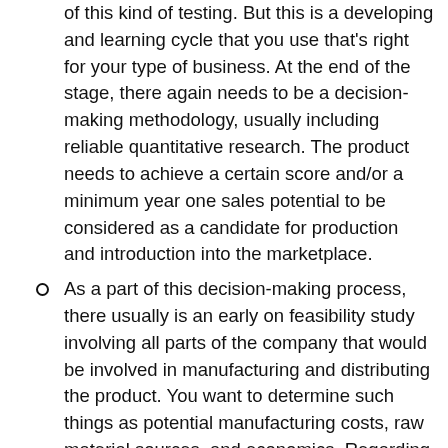of this kind of testing. But this is a developing and learning cycle that you use that's right for your type of business. At the end of the stage, there again needs to be a decision-making methodology, usually including reliable quantitative research. The product needs to achieve a certain score and/or a minimum year one sales potential to be considered as a candidate for production and introduction into the marketplace.
As a part of this decision-making process, there usually is an early on feasibility study involving all parts of the company that would be involved in manufacturing and distributing the product. You want to determine such things as potential manufacturing costs, raw material sources, and economics. Regarding economics, you want to develop preliminary cost and selling price models that are then